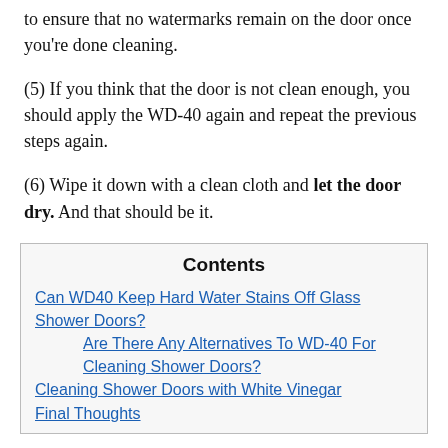to ensure that no watermarks remain on the door once you're done cleaning.
(5) If you think that the door is not clean enough, you should apply the WD-40 again and repeat the previous steps again.
(6) Wipe it down with a clean cloth and let the door dry. And that should be it.
| Contents |
| --- |
| Can WD40 Keep Hard Water Stains Off Glass Shower Doors? |
| Are There Any Alternatives To WD-40 For Cleaning Shower Doors? |
| Cleaning Shower Doors with White Vinegar |
| Final Thoughts |